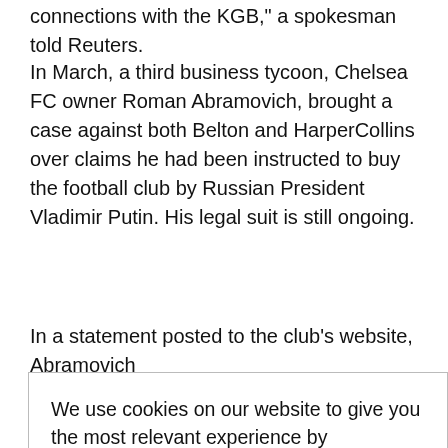connections with the KGB," a spokesman told Reuters.
In March, a third business tycoon, Chelsea FC owner Roman Abramovich, brought a case against both Belton and HarperCollins over claims he had been instructed to buy the football club by Russian President Vladimir Putin. His legal suit is still ongoing.
In a statement posted to the club’s website, Abramovich
and defamatory “it has never nd I have ary on any statements.” ing a at efforts to ned publishing
We use cookies on our website to give you the most relevant experience by remembering your preferences and repeat visits. By clicking “Accept”, you consent to the use of ALL the cookies. Do not sell my personal information.
Cookie Settings
Accept